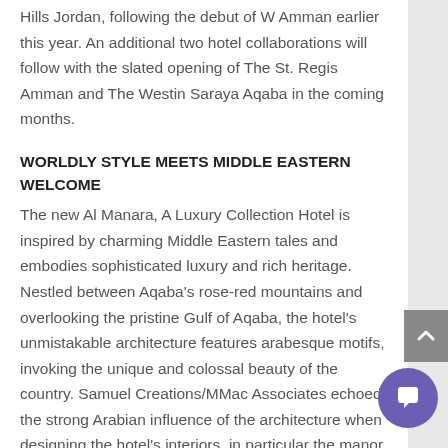Hills Jordan, following the debut of W Amman earlier this year. An additional two hotel collaborations will follow with the slated opening of The St. Regis Amman and The Westin Saraya Aqaba in the coming months.
WORLDLY STYLE MEETS MIDDLE EASTERN WELCOME
The new Al Manara, A Luxury Collection Hotel is inspired by charming Middle Eastern tales and embodies sophisticated luxury and rich heritage. Nestled between Aqaba's rose-red mountains and overlooking the pristine Gulf of Aqaba, the hotel's unmistakable architecture features arabesque motifs, invoking the unique and colossal beauty of the country. Samuel Creations/MMac Associates echoed the strong Arabian influence of the architecture when designing the hotel's interiors, in particular the manor house.
Each of the 207 rooms at Al Manara, including 43 suites and two villas, feature inviting balconies and floor-to